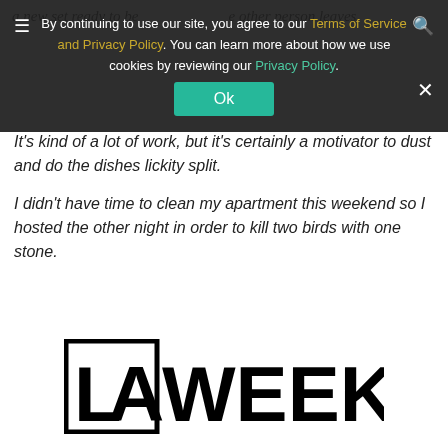a new set ready to be other person leaves.
By continuing to use our site, you agree to our Terms of Service and Privacy Policy. You can learn more about how we use cookies by reviewing our Privacy Policy.
Ok
It's kind of a lot of work, but it's certainly a motivator to dust and do the dishes lickity split.
I didn't have time to clean my apartment this weekend so I hosted the other night in order to kill two birds with one stone.
[Figure (logo): LA Weekly logo in large bold black serif text with 'LA' in a box outline]